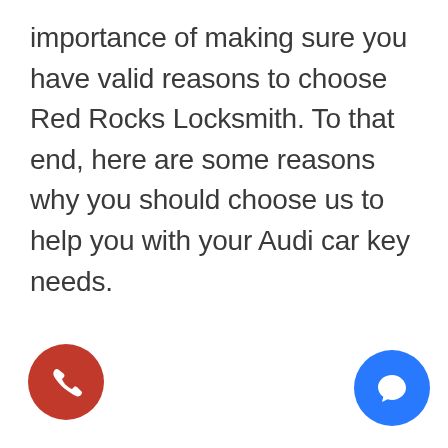importance of making sure you have valid reasons to choose Red Rocks Locksmith. To that end, here are some reasons why you should choose us to help you with your Audi car key needs.
[Figure (other): Red circular phone call button in the bottom-left corner]
[Figure (other): Blue circular chat/message button in the bottom-right corner]